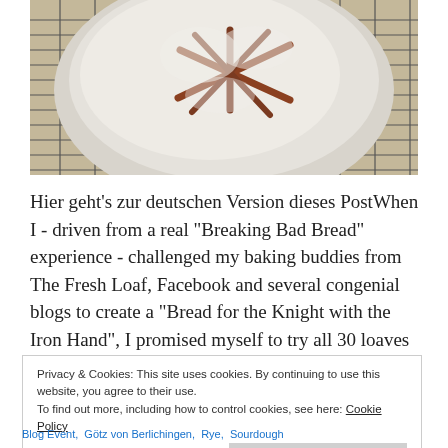[Figure (photo): Top-down photo of a round artisan bread loaf with a star-shaped scoring pattern, heavily dusted with white flour, resting on a wire cooling rack against a light wooden surface background.]
Hier geht's zur deutschen Version dieses PostWhen I - driven from a real "Breaking Bad Bread" experience - challenged my baking buddies from The Fresh Loaf, Facebook and several congenial blogs to create a "Bread for the Knight with the Iron Hand", I promised myself to try all 30 loaves over time.Well,
Privacy & Cookies: This site uses cookies. By continuing to use this website, you agree to their use.
To find out more, including how to control cookies, see here: Cookie Policy
Close and accept
Blog Event,  Götz von Berlichingen,  Rye,  Sourdough